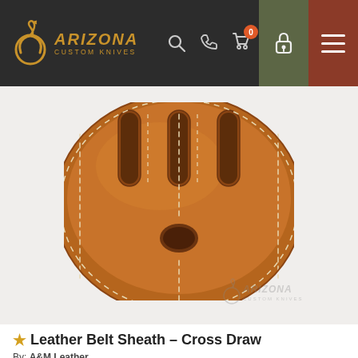Arizona Custom Knives - Navigation bar with logo, search, phone, cart (0), lock, menu icons
[Figure (photo): Close-up photo of a brown leather belt sheath - cross draw style, showing back side with belt slots and thumb hole, with Arizona Custom Knives watermark]
★ Leather Belt Sheath - Cross Draw
By: A&M Leather
Date Added: 08/19/2022
$36.00
BUY NOW
[Figure (photo): Partial view of next product listing - appears to show a tube/package product on light pink background]